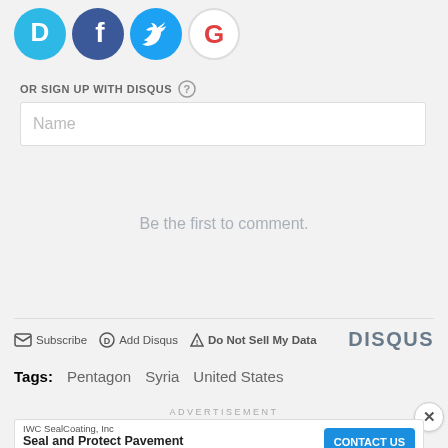[Figure (logo): Social login icons: Disqus (blue circle with D), Facebook (dark blue circle with f), Twitter (light blue circle with bird), Google (white circle with G)]
OR SIGN UP WITH DISQUS ?
Name
Be the first to comment.
Subscribe  Add Disqus  Do Not Sell My Data   DISQUS
Tags:  Pentagon  Syria  United States
ADVERTISEMENT
IWC SealCoating, Inc  Seal and Protect Pavement  CONTACT US